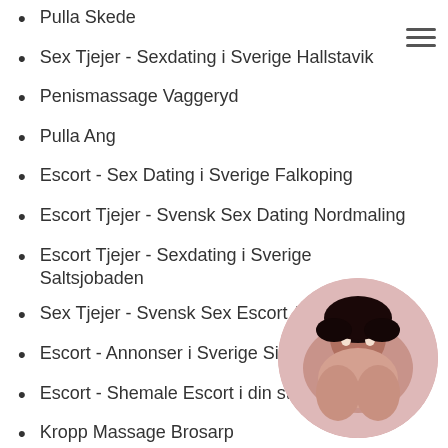Pulla Skede
Sex Tjejer - Sexdating i Sverige Hallstavik
Penismassage Vaggeryd
Pulla Ang
Escort - Sex Dating i Sverige Falkoping
Escort Tjejer - Svensk Sex Dating Nordmaling
Escort Tjejer - Sexdating i Sverige Saltsjobaden
Sex Tjejer - Svensk Sex Escort Alster
Escort - Annonser i Sverige Sibo
Escort - Shemale Escort i din stad. Hudiksvall
Kropp Massage Brosarp
Escort Tjejer - Annonser i Sverige M...
Escort Tjejer - Escort Service i din...
Uniforms Rodeby
Fetischer Hjalm
[Figure (photo): Circular avatar photo of a woman with dark hair, partially obscured by list items]